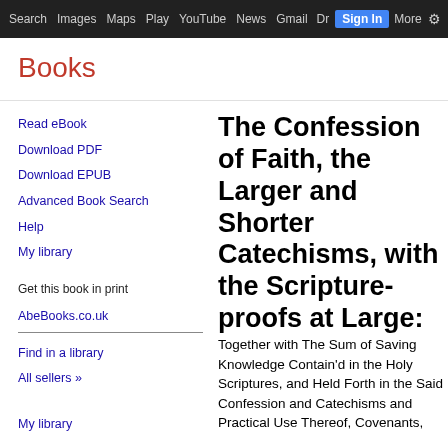Search  Images  Maps  Play  YouTube  News  Gmail  Dr  Sign In  More  ⚙
Books
Read eBook
Download PDF
Download EPUB
Advanced Book Search
Help
My library
Get this book in print
AbeBooks.co.uk
Find in a library
All sellers »
My library
The Confession of Faith, the Larger and Shorter Catechisms, with the Scripture-proofs at Large: Together with The Sum of Saving Knowledge Contain'd in the Holy Scriptures, and Held Forth in the Said Confession and Catechisms and Practical Use Thereof, Covenants,